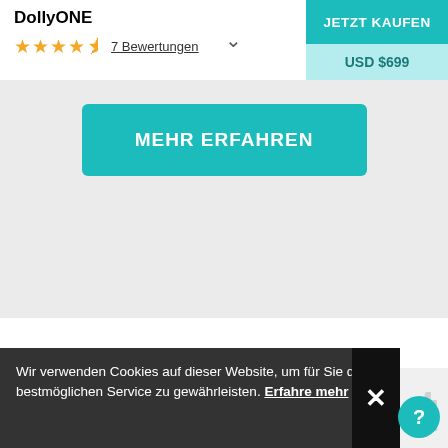DollyONE
★★★★½ 7 Bewertungen
JETZT KAUFEN USD $699
MEHR ERFAHREN
Wir verwenden Cookies auf dieser Website, um für Sie den bestmöglichen Service zu gewährleisten. Erfahre mehr